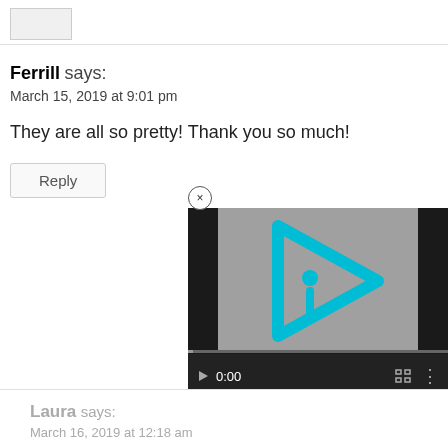[Figure (screenshot): Avatar placeholder box at top left]
Ferrill says:
March 15, 2019 at 9:01 pm
They are all so pretty! Thank you so much!
[Figure (screenshot): Video player showing a cyan/teal play button logo on gray background with playback controls showing 0:00]
Reply
Laura says:
March 16, 2019 at 12:18 am